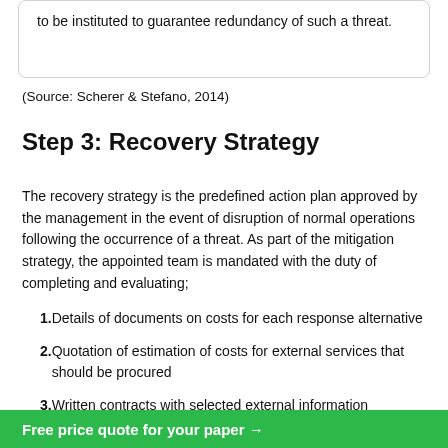to be instituted to guarantee redundancy of such a threat.
(Source: Scherer & Stefano, 2014)
Step 3: Recovery Strategy
The recovery strategy is the predefined action plan approved by the management in the event of disruption of normal operations following the occurrence of a threat. As part of the mitigation strategy, the appointed team is mandated with the duty of completing and evaluating;
Details of documents on costs for each response alternative
Quotation of estimation of costs for external services that should be procured
Written contracts with selected external information
Free price quote for your paper →